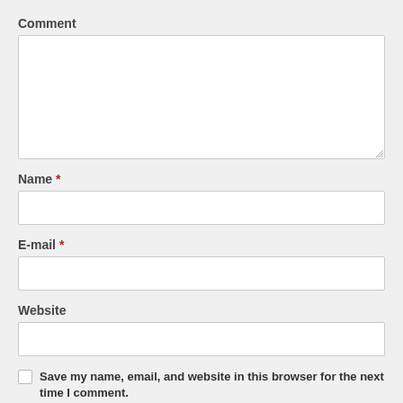Comment
[Figure (screenshot): Comment textarea input field, empty, with resize handle at bottom right]
Name *
[Figure (screenshot): Name single-line text input field, empty]
E-mail *
[Figure (screenshot): E-mail single-line text input field, empty]
Website
[Figure (screenshot): Website single-line text input field, empty]
Save my name, email, and website in this browser for the next time I comment.